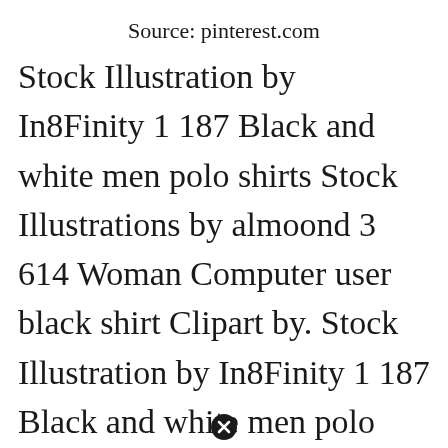Source: pinterest.com
Stock Illustration by In8Finity 1 187 Black and white men polo shirts Stock Illustrations by almoond 3 614 Woman Computer user black shirt Clipart by. Stock Illustration by In8Finity 1 187 Black and white men polo shirts Stock Illustrations by almoond 3 614 Woman Computer user black shirt Clipart by. Download 38984 Shirt Drawing Black White Stock Illustrations Vectors Clipart for FREE or amazingly low